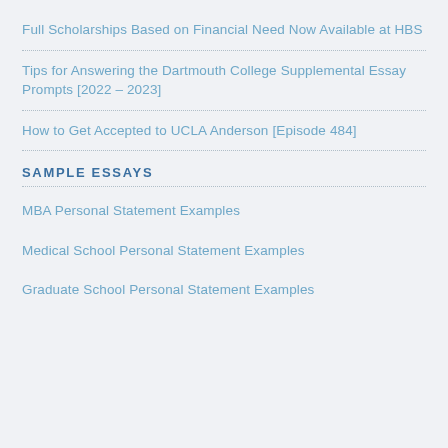Full Scholarships Based on Financial Need Now Available at HBS
Tips for Answering the Dartmouth College Supplemental Essay Prompts [2022 – 2023]
How to Get Accepted to UCLA Anderson [Episode 484]
SAMPLE ESSAYS
MBA Personal Statement Examples
Medical School Personal Statement Examples
Graduate School Personal Statement Examples